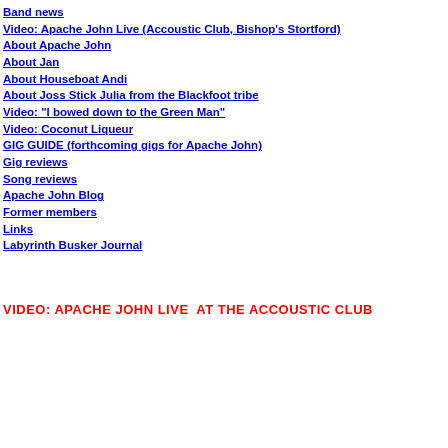Band news
Video: Apache John Live (Accoustic Club, Bishop's Stortford)
About Apache John
About Jan
About Houseboat Andi
About Joss Stick Julia from the Blackfoot tribe
Video: "I bowed down to the Green Man"
Video: Coconut Liqueur
GIG GUIDE (forthcoming gigs for Apache John)
Gig reviews
Song reviews
Apache John Blog
Former members
Links
Labyrinth Busker Journal
VIDEO: APACHE JOHN LIVE  AT THE ACCOUSTIC CLUB